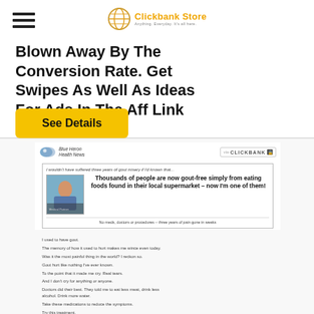[Figure (logo): Clickbank Store logo with globe icon and tagline]
Blown Away By The Conversion Rate. Get Swipes As Well As Ideas For Ads In The Aff Link Below.
See Details
[Figure (screenshot): Preview of a Clickbank health product page about gout remedy. Shows brand logo 'Blue Heron Health News', a Clickbank badge, an ad box with headline 'Thousands of people are now gout-free simply from eating foods found in their local supermarket – now I'm one of them!' and subtext 'No meds, doctors or procedures – three years of pain gone in weeks'. Below are testimonial text lines about gout suffering.]
I used to have gout.
The memory of how it used to hurt makes me wince even today.
Was it the most painful thing in the world? I reckon so.
Gout hurt like nothing I've ever known.
To the point that it made me cry. Real tears.
And I don't cry for anything or anyone.
Doctors did their best. They told me to eat less meat, drink less alcohol. Drink more water.
Take these medications to reduce the symptoms.
Try this treatment.
And so on. You may well be familiar with all this.